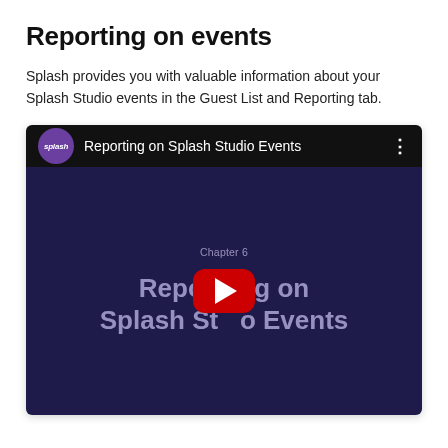Reporting on events
Splash provides you with valuable information about your Splash Studio events in the Guest List and Reporting tab.
[Figure (screenshot): Embedded YouTube video thumbnail titled 'Reporting on Splash Studio Events'. The video has a dark navy background with the text 'Chapter 6' and 'Reporting on Splash Studio Events' overlaid. A YouTube play button is shown in the center. The top bar shows the Splash logo (purple circle) and the video title on a black background.]